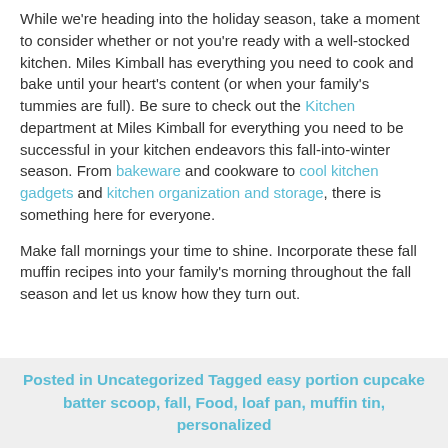While we're heading into the holiday season, take a moment to consider whether or not you're ready with a well-stocked kitchen. Miles Kimball has everything you need to cook and bake until your heart's content (or when your family's tummies are full). Be sure to check out the Kitchen department at Miles Kimball for everything you need to be successful in your kitchen endeavors this fall-into-winter season. From bakeware and cookware to cool kitchen gadgets and kitchen organization and storage, there is something here for everyone.
Make fall mornings your time to shine. Incorporate these fall muffin recipes into your family's morning throughout the fall season and let us know how they turn out.
Posted in Uncategorized Tagged easy portion cupcake batter scoop, fall, Food, loaf pan, muffin tin, personalized